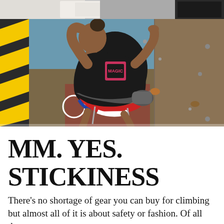[Figure (photo): Partial top view of a climbing-related scene, cropped at top of page]
[Figure (photo): A woman in a black t-shirt with a pink logo climbing an indoor/outdoor climbing wall with colorful holds, wearing a harness with red/white/blue shorts. Diagonal yellow and black safety stripes visible on left.]
MM. YES. STICKINESS
There's no shortage of gear you can buy for climbing but almost all of it is about safety or fashion. Of all the